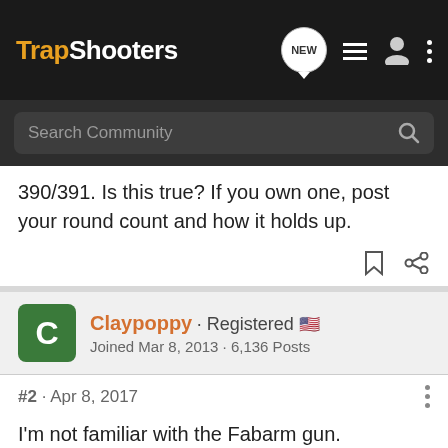TrapShooters
390/391. Is this true? If you own one, post your round count and how it holds up.
Claypoppy · Registered
Joined Mar 8, 2013 · 6,136 Posts
#2 · Apr 8, 2017
I'm not familiar with the Fabarm gun.
All I can say is that it is my opinion to...